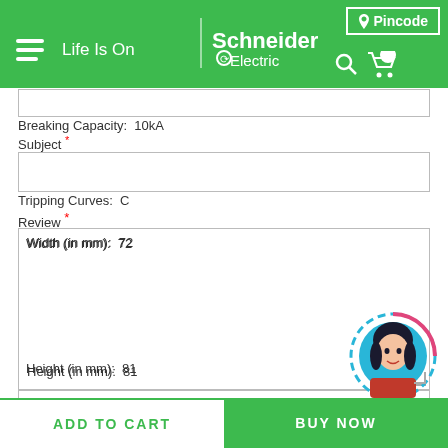Life Is On | Schneider Electric — Pincode
Breaking Capacity: 10kA
Subject *
Tripping Curves: C
Review *
Width (in mm): 72
Height (in mm): 81
Depth (in mm): 74
Submit Review
ADD TO CART
BUY NOW